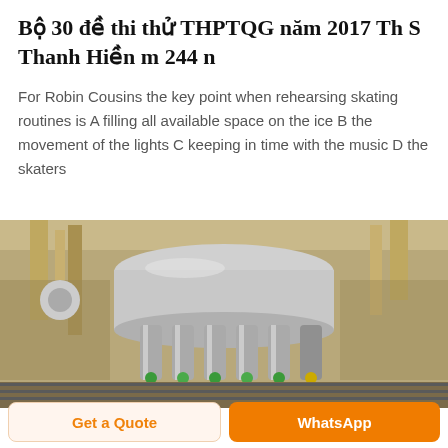Bộ 30 đề thi thử THPTQG năm 2017 Th S Thanh Hiền m 244 n
For Robin Cousins the key point when rehearsing skating routines is A filling all available space on the ice B the movement of the lights C keeping in time with the music D the skaters
[Figure (photo): Industrial bottling/filling machine with stainless steel cylindrical components, metal framework, and green/yellow fittings in a factory setting.]
Get a Quote | WhatsApp